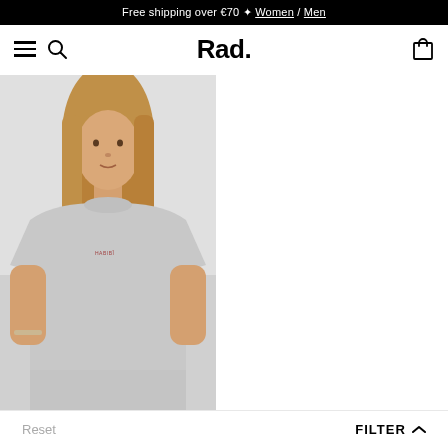Free shipping over €70 ✦ Women / Men
[Figure (logo): Rad. brand logo in bold black text]
[Figure (photo): Female model wearing a grey oversized t-shirt with small red brand text on chest, light grey background]
Reset
FILTER ∧